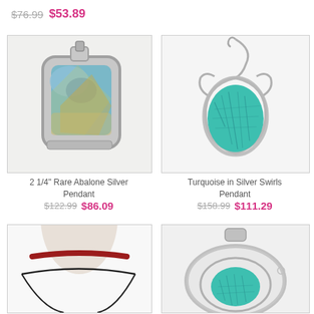$76.99  $53.89
[Figure (photo): 2 1/4" Rare Abalone Silver Pendant jewelry photo on white background]
2 1/4" Rare Abalone Silver Pendant
$122.99  $86.09
[Figure (photo): Turquoise in Silver Swirls Pendant jewelry photo on white background]
Turquoise in Silver Swirls Pendant
$158.99  $111.29
[Figure (photo): Choker necklace jewelry photo on white background]
[Figure (photo): Turquoise pendant in silver swirls jewelry photo on white background]